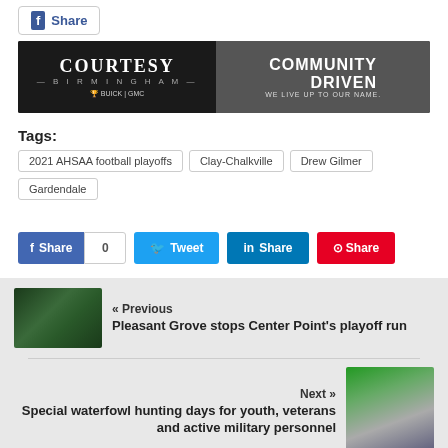[Figure (other): Facebook Share button at top of page]
[Figure (other): Courtesy Birmingham advertisement banner — left side shows 'COURTESY BIRMINGHAM' with Buick/GMC logos; right side shows car interior with text 'COMMUNITY DRIVEN — WE LIVE UP TO OUR NAME.']
Tags: 2021 AHSAA football playoffs | Clay-Chalkville | Drew Gilmer | Gardendale
[Figure (other): Social share buttons row: Facebook Share (blue, count 0), Tweet (light blue), LinkedIn Share (dark blue), Pinterest Share (red)]
[Figure (photo): Previous article thumbnail: football game action photo]
« Previous
Pleasant Grove stops Center Point's playoff run
[Figure (photo): Next article thumbnail: person with youth outdoors]
Next »
Special waterfowl hunting days for youth, veterans and active military personnel